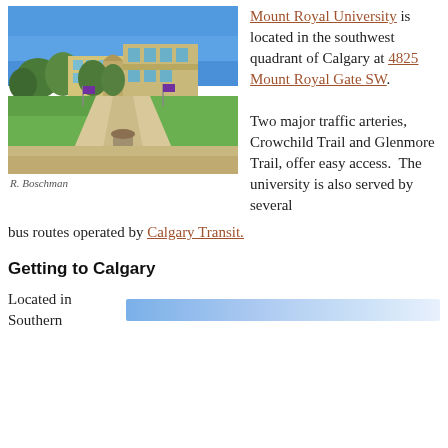[Figure (photo): Campus walkway photo of Mount Royal University showing a wide concrete path flanked by green lawn and trees, with campus buildings in the background under a blue sky.]
R. Boschman
Mount Royal University is located in the southwest quadrant of Calgary at 4825 Mount Royal Gate SW.

Two major traffic arteries, Crowchild Trail and Glenmore Trail, offer easy access.  The university is also served by several bus routes operated by Calgary Transit.
Getting to Calgary
Located in Southern